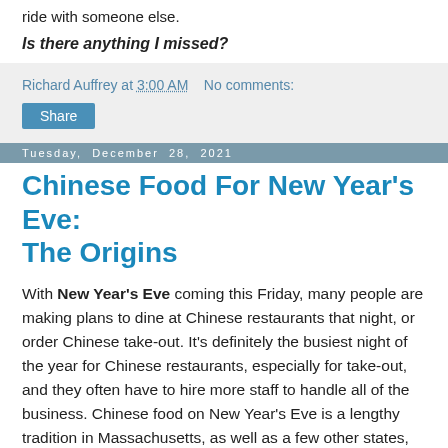ride with someone else.
Is there anything I missed?
Richard Auffrey at 3:00 AM   No comments:
Share
Tuesday, December 28, 2021
Chinese Food For New Year's Eve: The Origins
With New Year's Eve coming this Friday, many people are making plans to dine at Chinese restaurants that night, or order Chinese take-out. It's definitely the busiest night of the year for Chinese restaurants, especially for take-out, and they often have to hire more staff to handle all of the business. Chinese food on New Year's Eve is a lengthy tradition in Massachusetts, as well as a few other states, but when did this tradition begin?